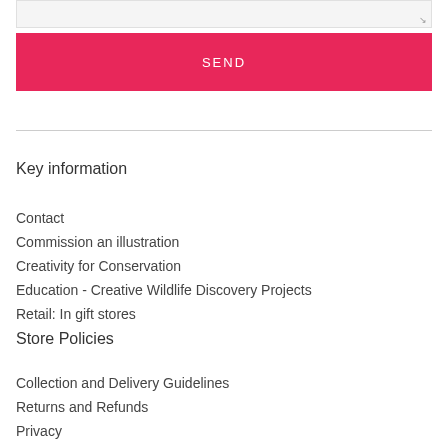SEND
Key information
Contact
Commission an illustration
Creativity for Conservation
Education - Creative Wildlife Discovery Projects
Retail: In gift stores
Store Policies
Collection and Delivery Guidelines
Returns and Refunds
Privacy